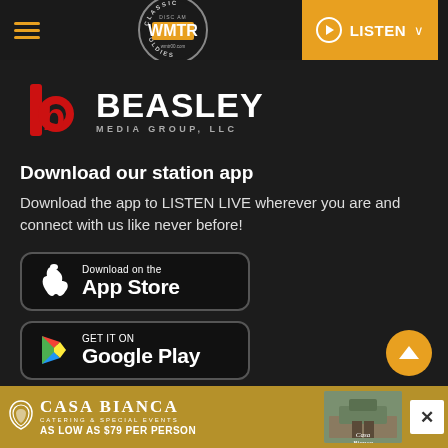WMTR Classic Oldies — Navigation header with hamburger menu, WMTR logo, and LISTEN button
[Figure (logo): Beasley Media Group LLC logo — red letter b with red circle, white BEASLEY text, grey MEDIA GROUP, LLC subtext]
Download our station app
Download the app to LISTEN LIVE wherever you are and connect with us like never before!
[Figure (screenshot): Download on the App Store button — black rounded rectangle with Apple logo and text]
[Figure (screenshot): Get it on Google Play button — black rounded rectangle with Google Play triangle logo and text]
[Figure (infographic): Advertisement banner for Casa Bianca Catering & Special Events — AS LOW AS $79 PER PERSON, with venue image]
Casa Bianca — Catering & Special Events — AS LOW AS $79 PER PERSON